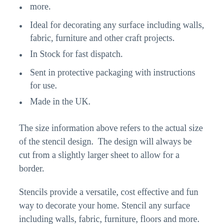more.
Ideal for decorating any surface including walls, fabric, furniture and other craft projects.
In Stock for fast dispatch.
Sent in protective packaging with instructions for use.
Made in the UK.
The size information above refers to the actual size of the stencil design.  The design will always be cut from a slightly larger sheet to allow for a border.
Stencils provide a versatile, cost effective and fun way to decorate your home. Stencil any surface including walls, fabric, furniture, floors and more. Just use the correct paint for the surface you are working on and get stencilling! Not sure where to